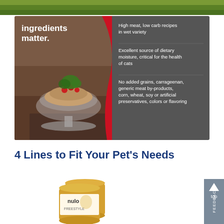[Figure (photo): Green grass background strip at top of page]
[Figure (infographic): Infographic with dark background showing a glass bowl filled with pet food topped with cranberries and parsley on the left half, and three bullet points on the right: 'High meat, low carb recipes in wet variety', 'Excellent source of dietary moisture, critical for the health of cats', 'No added grains, carrageenan, generic meat by-products, corn, wheat, soy or artificial preservatives, colors or flavoring'. Title text on left reads 'ingredients matter.']
4 Lines to Fit Your Pet’s Needs
[Figure (photo): Nulo brand pet food cans at bottom of page]
[Figure (other): Feedback button on right side with up arrow and 'top' label]